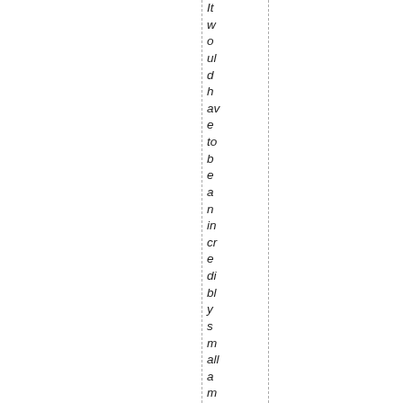It would have to be an incredibly small amount of lea